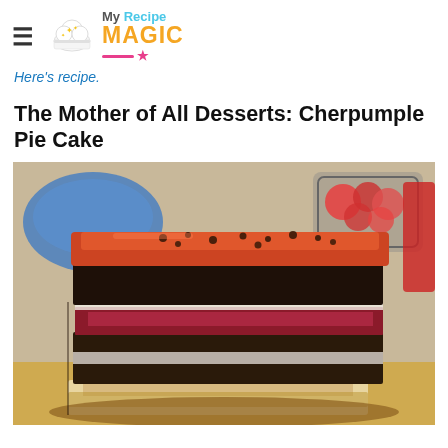My Recipe MAGIC
Here's recipe.
The Mother of All Desserts: Cherpumple Pie Cake
[Figure (photo): A cross-section slice of a Cherpumple Pie Cake showing multiple layers of cake, pie filling (cherry/berry), cream, and apple pie at the bottom, displayed on a plate with fruits and a blue bowl in the background.]